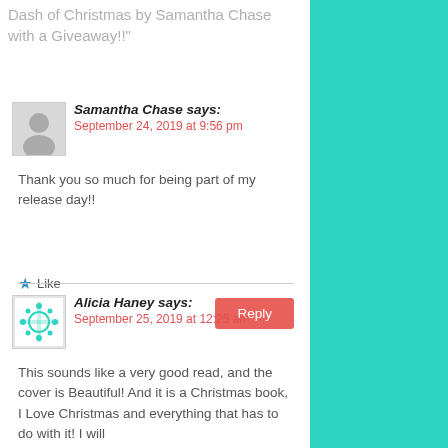Dash of Christmas by Samantha Chase with a Giveaway!!"
Samantha Chase says:
September 24, 2019 at 9:56 pm
Thank you so much for being part of my release day!!
Like
Reply
Alicia Haney says:
September 25, 2019 at 12:25 am
This sounds like a very good read, and the cover is Beautiful! And it is a Christmas book, I Love Christmas and everything that has to do with it! I will